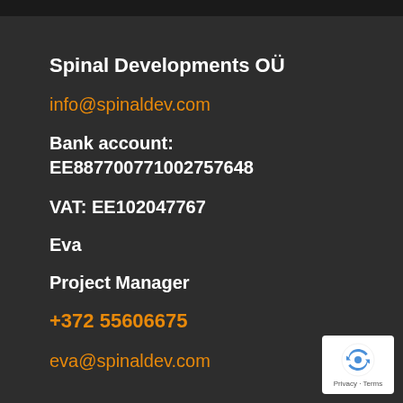Spinal Developments OÜ
info@spinaldev.com
Bank account:
EE887700771002757648
VAT: EE102047767
Eva
Project Manager
+372 55606675
eva@spinaldev.com
[Figure (logo): reCAPTCHA badge with recycle-arrow logo and Privacy - Terms text]